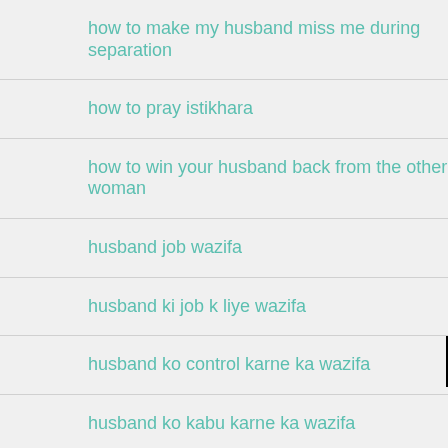how to make my husband miss me during separation
how to pray istikhara
how to win your husband back from the other woman
husband job wazifa
husband ki job k liye wazifa
husband ko control karne ka wazifa
husband ko kabu karne ka wazifa
husband ko kabu karne ki dua
husband ko kabu karne ki powerful dua
husband wife me pyar ka wazifa
Click to Consult on Whatsapp